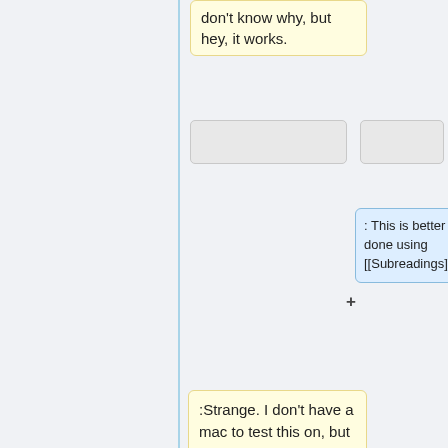don't know why, but hey, it works.
: This is better done using [[Subreadings]].
:Strange. I don't have a mac to test this on, but on the other macs I've tried it compiled without problems. (Apart from having to install ICU) - [[User:FrancisTyers|Francis Tyers]] 22:42, 21 March 2009 (UTC)